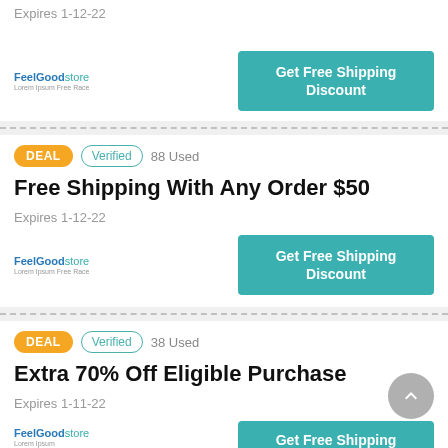Expires 1-12-22
Get Free Shipping Discount
DEAL  Verified  88 Used
Free Shipping With Any Order $50
Expires 1-12-22
Get Free Shipping Discount
DEAL  Verified  38 Used
Extra 70% Off Eligible Purchase
Expires 1-11-22
Get Free Shipping